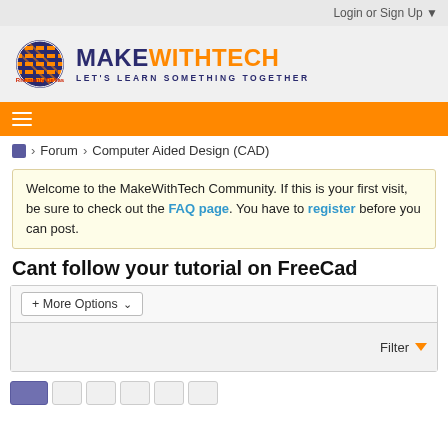Login or Sign Up ▼
[Figure (logo): MakeWithTech logo with circular icon and text 'MAKE WITH TECH - LET'S LEARN SOMETHING TOGETHER']
≡ (hamburger nav menu icon on orange bar)
🏠 > Forum > Computer Aided Design (CAD)
Welcome to the MakeWithTech Community. If this is your first visit, be sure to check out the FAQ page. You have to register before you can post.
Cant follow your tutorial on FreeCad
+ More Options ▾
Filter ▼